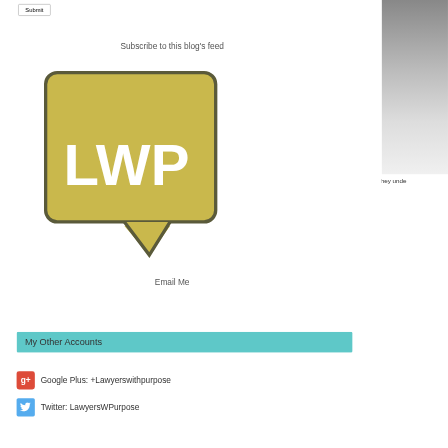Submit
Subscribe to this blog's feed
[Figure (logo): LWP speech bubble logo in golden yellow with white LWP text]
Email Me
My Other Accounts
Google Plus: +Lawyerswithpurpose
Twitter: LawyersWPurpose
they unde workshops
Share sor
Most peop the love o failed.  Th life can sti
What is y
Little Won Privacy · Terms